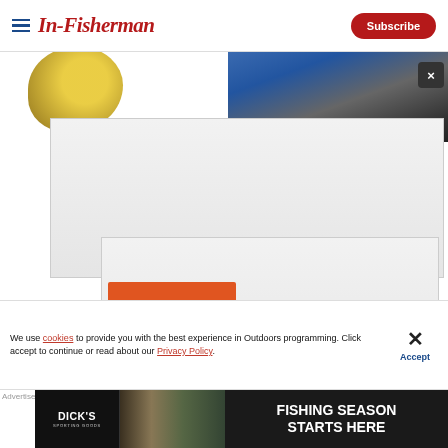In-Fisherman | Subscribe
[Figure (screenshot): Partial image of fishing lures (yellow) on the left and a blue/dark backpack on the right, with a dark close (X) button overlay]
[Figure (screenshot): Video player error panel with light grey background showing 'We're Sorry.' and 'We seem to be having a problem with the video you've selected.' message, with an orange button below]
We're Sorry.
We seem to be having a problem with the video you've selected.
We use cookies to provide you with the best experience in Outdoors programming. Click accept to continue or read about our Privacy Policy.
Accept
Advertisement
[Figure (photo): Dick's Sporting Goods advertisement banner: Dick's logo on left, fishing equipment image in middle, 'FISHING SEASON STARTS HERE' text on right]